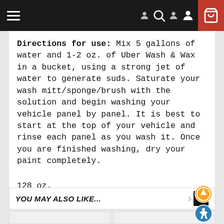Navigation bar with menu, search, account, and cart icons
Directions for use: Mix 5 gallons of water and 1-2 oz. of Uber Wash & Wax in a bucket, using a strong jet of water to generate suds. Saturate your wash mitt/sponge/brush with the solution and begin washing your vehicle panel by panel. It is best to start at the top of your vehicle and rinse each panel as you wash it. Once you are finished washing, dry your paint completely.
128 oz.
YOU MAY ALSO LIKE...
[Figure (other): Two product tile placeholders below the 'You May Also Like' section]